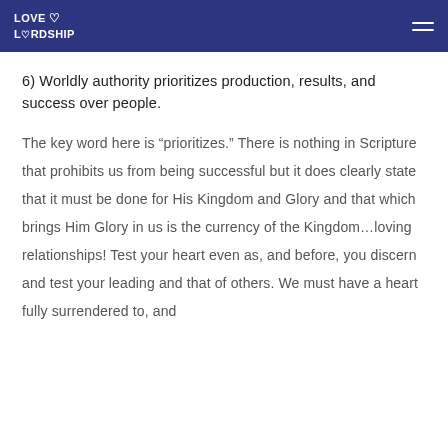LOVE & LORDSHIP
6) Worldly authority prioritizes production, results, and success over people.
The key word here is “prioritizes.” There is nothing in Scripture that prohibits us from being successful but it does clearly state that it must be done for His Kingdom and Glory and that which brings Him Glory in us is the currency of the Kingdom…loving relationships! Test your heart even as, and before, you discern and test your leading and that of others. We must have a heart fully surrendered to, and